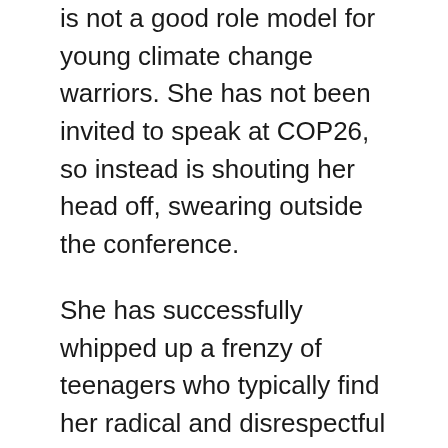is not a good role model for young climate change warriors. She has not been invited to speak at COP26, so instead is shouting her head off, swearing outside the conference.
She has successfully whipped up a frenzy of teenagers who typically find her radical and disrespectful manner and behaviour appealing. I watched as some of them were interviewed by an outside broadcast BBC reporter. I had to laugh because all they could do was scream and shout in fake anger while being unable to explain what they were really shouting about!
She is an extremist who supports other extremists like Insulate Britain who believe that the only way